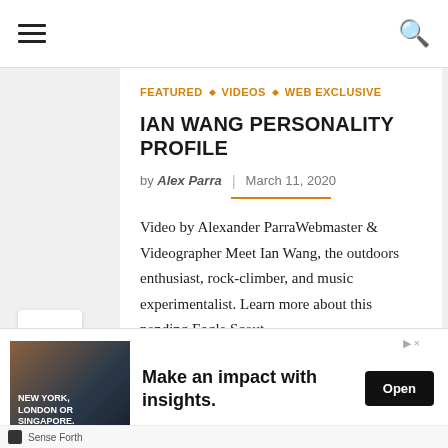Navigation bar with hamburger menu and search icon
FEATURED ◇ VIDEOS ◇ WEB EXCLUSIVE
IAN WANG PERSONALITY PROFILE
by Alex Parra  |  March 11, 2020
Video by Alexander ParraWebmaster & Videographer Meet Ian Wang, the outdoors enthusiast, rock-climber, and music experimentalist. Learn more about this pending Eagle Scout...
Read more »
[Figure (screenshot): Advertisement banner: Make an impact with insights. Open button. Sense Forth branding.]